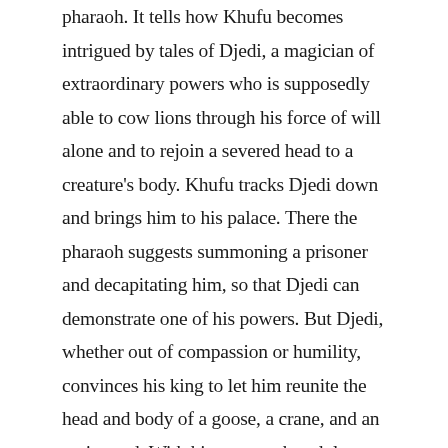pharaoh. It tells how Khufu becomes intrigued by tales of Djedi, a magician of extraordinary powers who is supposedly able to cow lions through his force of will alone and to rejoin a severed head to a creature's body. Khufu tracks Djedi down and brings him to his palace. There the pharaoh suggests summoning a prisoner and decapitating him, so that Djedi can demonstrate one of his powers. But Djedi, whether out of compassion or humility, convinces his king to let him reunite the head and body of a goose, a crane, and an ox instead. With his powers thus duly demonstrated, he prophesies that the dynasty that began with Khufu's father Sneferu will end after just two more pharaohs have followed.